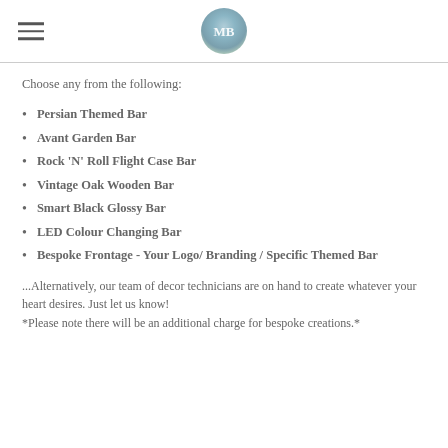MB logo header
Choose any from the following:
Persian Themed Bar
Avant Garden Bar
Rock 'N' Roll Flight Case Bar
Vintage Oak Wooden Bar
Smart Black Glossy Bar
LED Colour Changing Bar
Bespoke Frontage - Your Logo/ Branding / Specific Themed Bar
...Alternatively, our team of decor technicians are on hand to create whatever your heart desires. Just let us know!
*Please note there will be an additional charge for bespoke creations.*